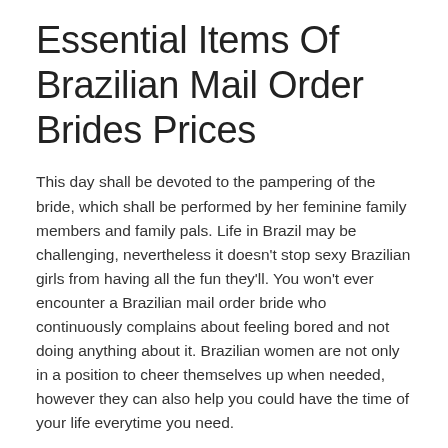Essential Items Of Brazilian Mail Order Brides Prices
This day shall be devoted to the pampering of the bride, which shall be performed by her feminine family members and family pals. Life in Brazil may be challenging, nevertheless it doesn't stop sexy Brazilian girls from having all the fun they'll. You won't ever encounter a Brazilian mail order bride who continuously complains about feeling bored and not doing anything about it. Brazilian women are not only in a position to cheer themselves up when needed, however they can also help you could have the time of your life everytime you need.
Withthe boosting recognition of on-line relationship, a ton of single men and women determine to make use of its personal providers. That is actually why you'll actually be able to discover a big lot of brides coming from Brazilia on the net. Besides, brazilian brides have all high qualities that create all of them fantastic housewives in